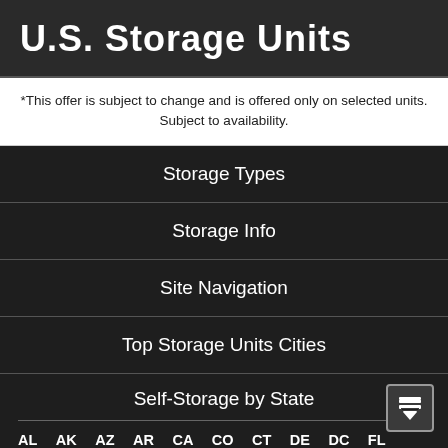U.S. Storage Units
*This offer is subject to change and is offered only on selected units. Subject to availability.
Storage Types
Storage Info
Site Navigation
Top Storage Units Cities
Self-Storage by State
AL AK AZ AR CA CO CT DE DC FL
GA HI ID IL IN IA KS KY LA ME